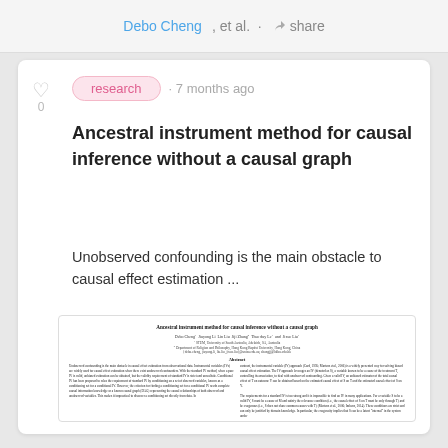Debo Cheng, et al. · share
research · 7 months ago
Ancestral instrument method for causal inference without a causal graph
Unobserved confounding is the main obstacle to causal effect estimation ...
[Figure (screenshot): Thumbnail of the research paper 'Ancestral instrument method for causal inference without a causal graph' by Debo Cheng, Jiuyong Li, Lin Liu, Jiji Zhang, Thuc duy Le, and Jixue Liu, showing the abstract section with two-column text layout.]